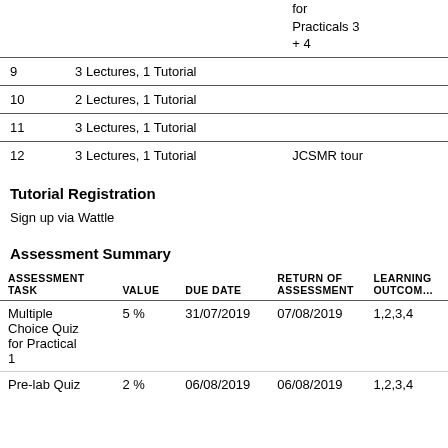| Week | Content | Additional |
| --- | --- | --- |
| 9 | 3 Lectures, 1 Tutorial |  |
| 10 | 2 Lectures, 1 Tutorial |  |
| 11 | 3 Lectures, 1 Tutorial |  |
| 12 | 3 Lectures, 1 Tutorial | JCSMR tour |
Tutorial Registration
Sign up via Wattle
Assessment Summary
| ASSESSMENT TASK | VALUE | DUE DATE | RETURN OF ASSESSMENT | LEARNING OUTCOMES |
| --- | --- | --- | --- | --- |
| Multiple Choice Quiz for Practical 1 | 5 % | 31/07/2019 | 07/08/2019 | 1,2,3,4 |
| Pre-lab Quiz | 2 % | 06/08/2019 | 06/08/2019 | 1,2,3,4 |